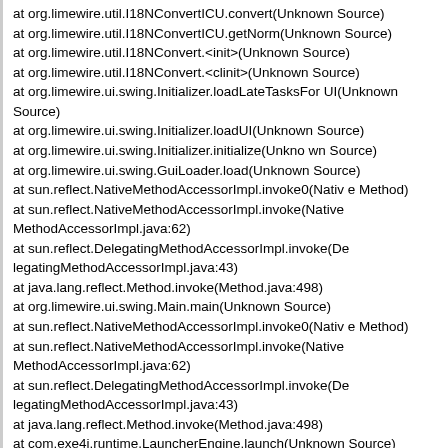at org.limewire.util.I18NConvertICU.convert(Unknown Source)
at org.limewire.util.I18NConvertICU.getNorm(Unknown Source)
at org.limewire.util.I18NConvert.<init>(Unknown Source)
at org.limewire.util.I18NConvert.<clinit>(Unknown Source)
at org.limewire.ui.swing.Initializer.loadLateTasksFor UI(Unknown Source)
at org.limewire.ui.swing.Initializer.loadUI(Unknown Source)
at org.limewire.ui.swing.Initializer.initialize(Unkno wn Source)
at org.limewire.ui.swing.GuiLoader.load(Unknown Source)
at sun.reflect.NativeMethodAccessorImpl.invoke0(Nativ e Method)
at sun.reflect.NativeMethodAccessorImpl.invoke(Native MethodAccessorImpl.java:62)
at sun.reflect.DelegatingMethodAccessorImpl.invoke(De legatingMethodAccessorImpl.java:43)
at java.lang.reflect.Method.invoke(Method.java:498)
at org.limewire.ui.swing.Main.main(Unknown Source)
at sun.reflect.NativeMethodAccessorImpl.invoke0(Nativ e Method)
at sun.reflect.NativeMethodAccessorImpl.invoke(Native MethodAccessorImpl.java:62)
at sun.reflect.DelegatingMethodAccessorImpl.invoke(De legatingMethodAccessorImpl.java:43)
at java.lang.reflect.Method.invoke(Method.java:498)
at com.exe4j.runtime.LauncherEngine.launch(Unknown Source)
at com.exe4j.runtime.WinLauncher.main(Unknown Source)
Caused by: java.lang.IllegalArgumentException: Invalid version numb
Version number may be negative or greater than 255
at com.ibm.icu.util.VersionInfo.getInstance(Unknown Source)
at com.ibm.icu.impl.ICUDebug.getInstanceLenient(Unkno wn Source)
at com.ibm.icu.impl.ICUDebug.<clinit>(Unknown Source)
... 24 more